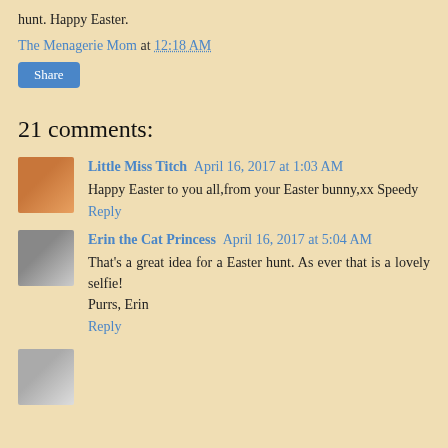hunt. Happy Easter.
The Menagerie Mom at 12:18 AM
Share
21 comments:
Little Miss Titch  April 16, 2017 at 1:03 AM
Happy Easter to you all,from your Easter bunny,xx Speedy
Reply
Erin the Cat Princess  April 16, 2017 at 5:04 AM
That's a great idea for a Easter hunt. As ever that is a lovely selfie!
Purrs, Erin
Reply